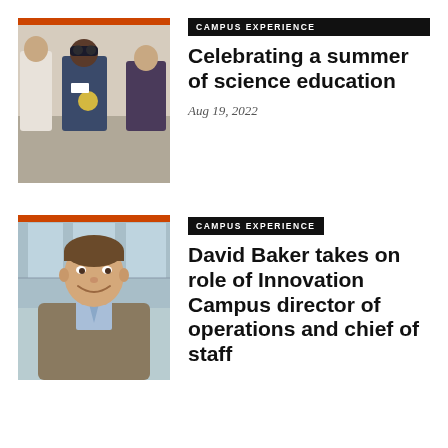[Figure (photo): Students in a lab setting; one student wearing safety goggles examines an object while others observe]
CAMPUS EXPERIENCE
Celebrating a summer of science education
Aug 19, 2022
[Figure (photo): Headshot of David Baker, a smiling man in a blazer and collared shirt]
CAMPUS EXPERIENCE
David Baker takes on role of Innovation Campus director of operations and chief of staff